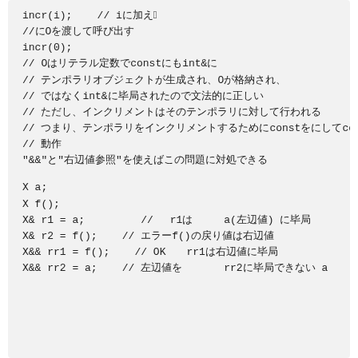incr(i);    // i に 1 を加える
//0 を渡して呼び出す
incr(0);
// 0 はリテラル定数で const int& に束縛できる
// テンポラリオブジェクトが生成され、0 が格納され、
// int& ではなく const int& に束縛されたので文法的に正しい
// ただし、インクリメントはそのテンポラリに対して行われる
// つまり、テンポラリをインクリメントするために const を外して const いった
// 動作
"&&" と "右辺値参照" を使えばこの問題に対処できる

X a;
X f();
X& r1 = a;         // r1 は a(左辺値) に束縛
X& r2 = f();    // エラー f() の戻り値は右辺値
X&& rr1 = f();    // OK。rr1 は右辺値に束縛
X&& rr2 = a;    // エラー、左辺値を rr2 に束縛できない a